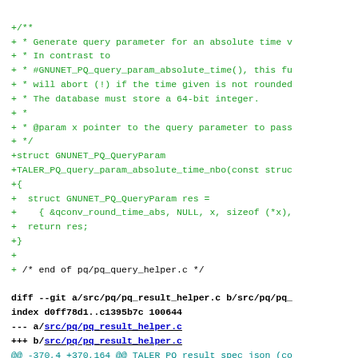+/**
+ * Generate query parameter for an absolute time v
+ * In contrast to
+ * #GNUNET_PQ_query_param_absolute_time(), this fu
+ * will abort (!) if the time given is not rounded
+ * The database must store a 64-bit integer.
+ *
+ * @param x pointer to the query parameter to pass
+ */
+struct GNUNET_PQ_QueryParam
+TALER_PQ_query_param_absolute_time_nbo(const struc
+{
+  struct GNUNET_PQ_QueryParam res =
+    { &qconv_round_time_abs, NULL, x, sizeof (*x),
+  return res;
+}
+
+
 /* end of pq/pq_query_helper.c */

diff --git a/src/pq/pq_result_helper.c b/src/pq/pq_
index d0ff78d1..c1395b7c 100644
--- a/src/pq/pq_result_helper.c
+++ b/src/pq/pq_result_helper.c
@@ -370,4 +370,164 @@ TALER_PQ_result_spec_json (co
    return res;
 }

+
+